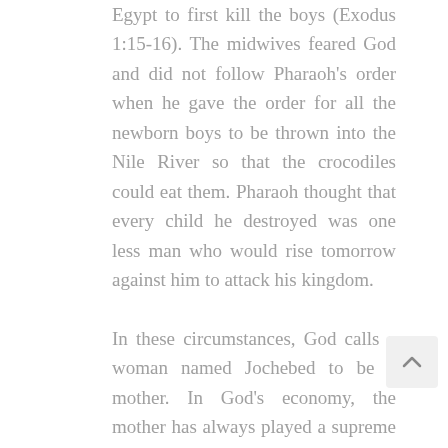Egypt to first kill the boys (Exodus 1:15-16). The midwives feared God and did not follow Pharaoh's order when he gave the order for all the newborn boys to be thrown into the Nile River so that the crocodiles could eat them. Pharaoh thought that every child he destroyed was one less man who would rise tomorrow against him to attack his kingdom.

In these circumstances, God calls a woman named Jochebed to be a mother. In God's economy, the mother has always played a supreme role. It